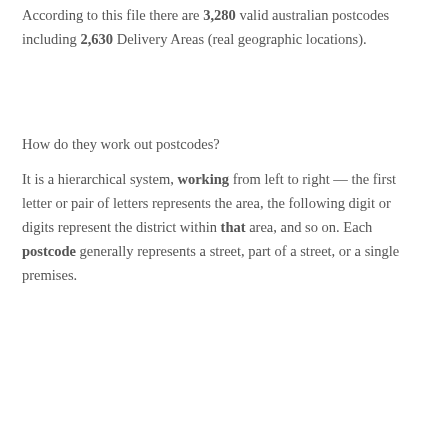According to this file there are 3,280 valid australian postcodes including 2,630 Delivery Areas (real geographic locations).
How do they work out postcodes?
It is a hierarchical system, working from left to right — the first letter or pair of letters represents the area, the following digit or digits represent the district within that area, and so on. Each postcode generally represents a street, part of a street, or a single premises.
[Figure (screenshot): YouTube video thumbnail showing 'Does Australia use zip c...' with a green circle icon with question mark, dark background, and 'DOES' text overlay with a person silhouette.]